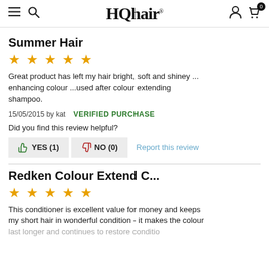HQhair
Summer Hair
[Figure (other): Five orange star rating icons]
Great product has left my hair bright, soft and shiney ... enhancing colour ...used after colour extending shampoo.
15/05/2015 by kat   VERIFIED PURCHASE
Did you find this review helpful?
YES (1)   NO (0)   Report this review
Redken Colour Extend C...
[Figure (other): Five orange star rating icons]
This conditioner is excellent value for money and keeps my short hair in wonderful condition - it makes the colour last longer and continues to restore conditions